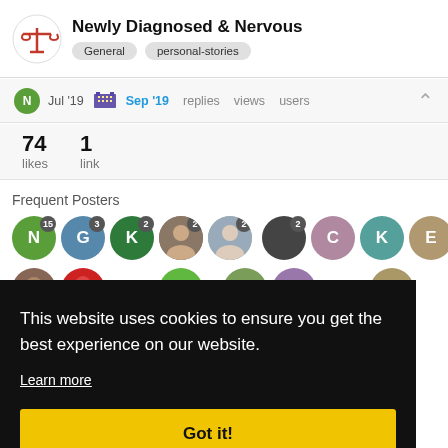Newly Diagnosed & Nervous
General  personal-stories
N  Jul '19  [icon] Sep '19  replies  views  users
74 likes  1 link
Frequent Posters
[Figure (other): Row of user avatar circles with letter initials and post count badges: N(15), G(3), K(2), photo(2), photo(2), 2, C, K, E, J; second row: photo, red avatar, M, M, S, A]
This website uses cookies to ensure you get the best experience on our website.
Learn more
Got it!
SUMMARIZE THIS TOPIC